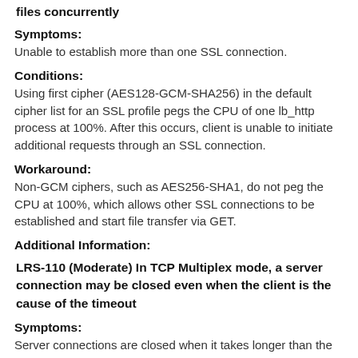files concurrently
Symptoms:
Unable to establish more than one SSL connection.
Conditions:
Using first cipher (AES128-GCM-SHA256) in the default cipher list for an SSL profile pegs the CPU of one lb_http process at 100%. After this occurs, client is unable to initiate additional requests through an SSL connection.
Workaround:
Non-GCM ciphers, such as AES256-SHA1, do not peg the CPU at 100%, which allows other SSL connections to be established and start file transfer via GET.
Additional Information:
LRS-110 (Moderate) In TCP Multiplex mode, a server connection may be closed even when the client is the cause of the timeout
Symptoms:
Server connections are closed when it takes longer than the